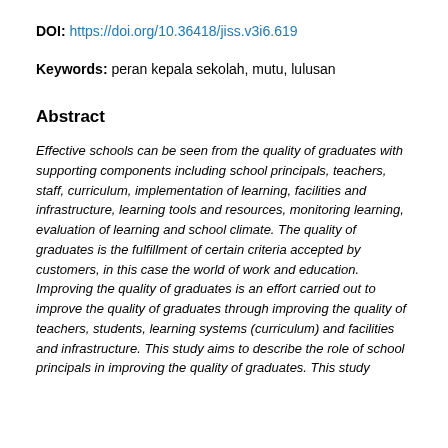DOI: https://doi.org/10.36418/jiss.v3i6.619
Keywords: peran kepala sekolah, mutu, lulusan
Abstract
Effective schools can be seen from the quality of graduates with supporting components including school principals, teachers, staff, curriculum, implementation of learning, facilities and infrastructure, learning tools and resources, monitoring learning, evaluation of learning and school climate. The quality of graduates is the fulfillment of certain criteria accepted by customers, in this case the world of work and education. Improving the quality of graduates is an effort carried out to improve the quality of graduates through improving the quality of teachers, students, learning systems (curriculum) and facilities and infrastructure. This study aims to describe the role of school principals in improving the quality of graduates. This study...